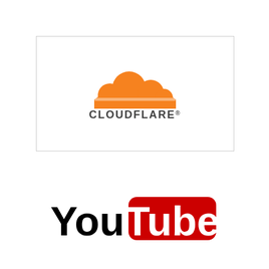[Figure (logo): Cloudflare logo: orange cloud icon above the text CLOUDFLARE in dark gray capital letters with registered trademark symbol, inside a light gray bordered rectangle]
[Figure (logo): YouTube logo: black bold text 'You' followed by white bold text 'Tube' inside a red rounded rectangle]